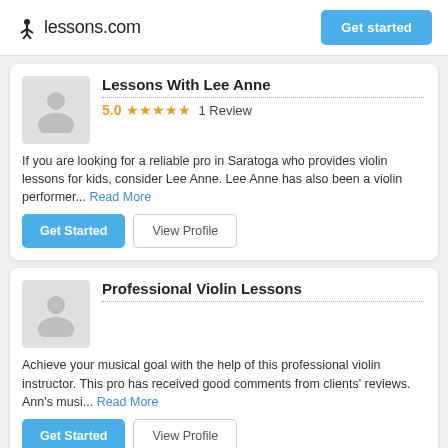lessons.com  Get started
Lessons With Lee Anne
5.0 ★★★★★ 1 Review
If you are looking for a reliable pro in Saratoga who provides violin lessons for kids, consider Lee Anne. Lee Anne has also been a violin performer... Read More
Get Started  View Profile
Professional Violin Lessons
Achieve your musical goal with the help of this professional violin instructor. This pro has received good comments from clients' reviews. Ann's musi... Read More
Get Started  View Profile